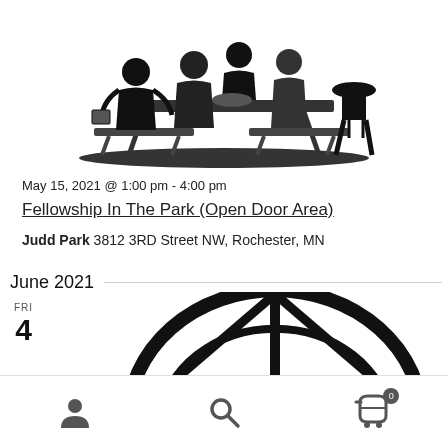[Figure (illustration): Black and white illustration of people gathered at a picnic table outdoors with a barbecue grill]
May 15, 2021 @ 1:00 pm - 4:00 pm
Fellowship In The Park (Open Door Area)
Judd Park 3812 3RD Street NW, Rochester, MN
June 2021
FRI 4
[Figure (illustration): Black and white arch/tent logo — a semicircle with internal lines forming a tent or dome shape]
Navigation bar with user icon, search icon, and cart icon showing 0 items